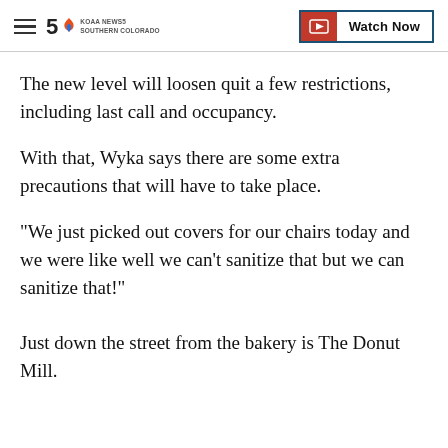KOAA NEWS5 SOUTHERN COLORADO | Watch Now
The new level will loosen quit a few restrictions, including last call and occupancy.
With that, Wyka says there are some extra precautions that will have to take place.
"We just picked out covers for our chairs today and we were like well we can't sanitize that but we can sanitize that!"
Just down the street from the bakery is The Donut Mill.